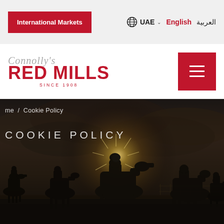International Markets | UAE | English | العربية
[Figure (logo): Connolly's Red Mills logo since 1908]
[Figure (other): Hamburger menu button]
me / Cookie Policy
COOKIE POLICY
[Figure (photo): Silhouette of horse riders/jockeys on horseback against a dramatic cloudy sky with sunburst, dark moody scene]